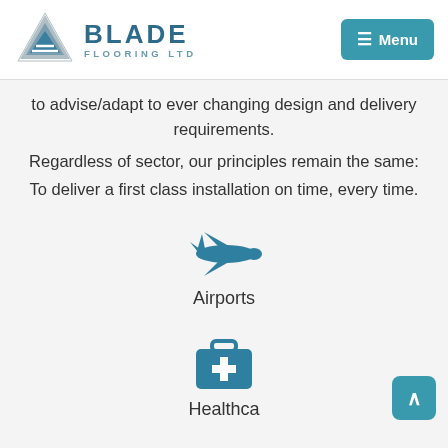Blade Flooring LTD — Menu
to advise/adapt to ever changing design and delivery requirements.
Regardless of sector, our principles remain the same:
To deliver a first class installation on time, every time.
[Figure (illustration): Airplane icon in teal color representing Airports sector]
Airports
[Figure (illustration): Medical kit / first aid briefcase icon in teal color representing Healthcare sector]
Healthcare